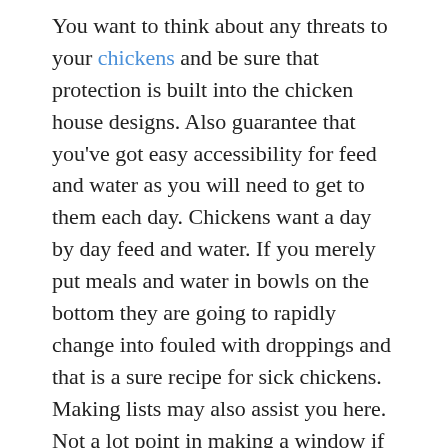You want to think about any threats to your chickens and be sure that protection is built into the chicken house designs. Also guarantee that you've got easy accessibility for feed and water as you will need to get to them each day. Chickens want a day by day feed and water. If you merely put meals and water in bowls on the bottom they are going to rapidly change into fouled with droppings and that is a sure recipe for sick chickens. Making lists may also assist you here. Not a lot point in making a window if it sits 5cm from a shed wall!
First-time renters and faculty college students normally haven't got that a lot cash to blow on furnishing their house, so it turns into paramount to find good deals. Yard sales, classified ads, antique malls, flea markets, boutiquejoy thrift shops and